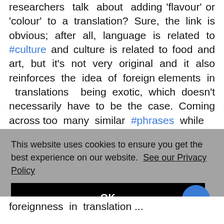researchers talk about adding 'flavour' or 'colour' to a translation? Sure, the link is obvious; after all, language is related to #culture and culture is related to food and art, but it's not very original and it also reinforces the idea of foreign elements in translations being exotic, which doesn't necessarily have to be the case. Coming across too many similar #phrases while
This website uses cookies to ensure you get the best experience on our website. See our Privacy Policy
OK
foreignness in translation...